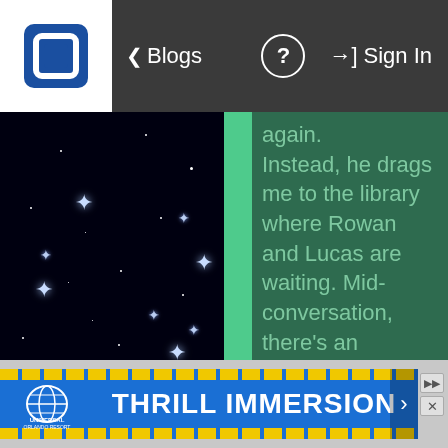Blogs | ? | Sign In
[Figure (screenshot): Starfield background image with white star-shaped points of light on black background]
again. Instead, he drags me to the library where Rowan and Lucas are waiting. Mid-conversation, there's an earthquake. Rowan suspects it may be connected to
[Figure (photo): Universal Orlando Resort Thrill Immersion advertisement banner with globe logo and blue background with yellow chevron stripes]